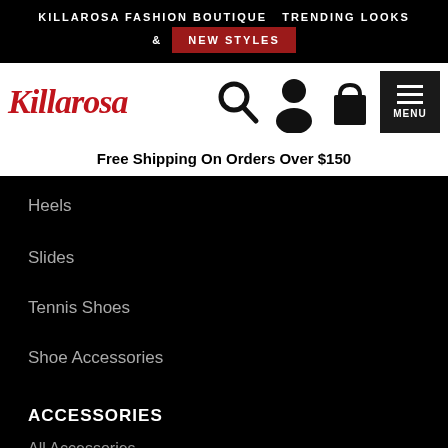KILLAROSA FASHION BOUTIQUE TRENDING LOOKS & NEW STYLES
[Figure (logo): Killarosa fashion boutique logo with navigation icons: search, user account, shopping bag, and hamburger menu]
Free Shipping On Orders Over $150
Heels
Slides
Tennis Shoes
Shoe Accessories
ACCESSORIES
All Accessories